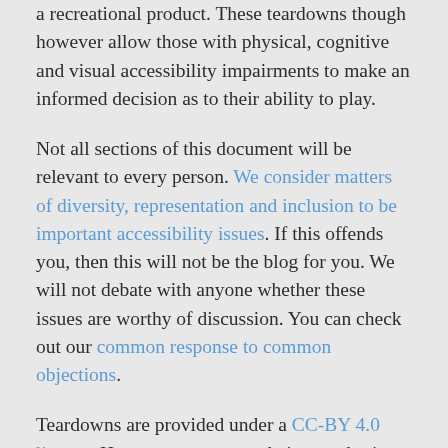a recreational product. These teardowns though however allow those with physical, cognitive and visual accessibility impairments to make an informed decision as to their ability to play.
Not all sections of this document will be relevant to every person. We consider matters of diversity, representation and inclusion to be important accessibility issues. If this offends you, then this will not be the blog for you. We will not debate with anyone whether these issues are worthy of discussion. You can check out our common response to common objections.
Teardowns are provided under a CC-BY 4.0 license. However, recommendation grades in teardowns are usually subjective and based primarily on heuristic analysis rather than embodied experience. No guarantee is made as to their